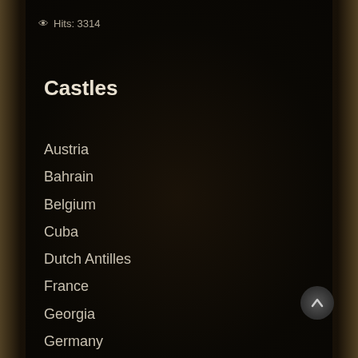Hits: 3314
Castles
Austria
Bahrain
Belgium
Cuba
Dutch Antilles
France
Georgia
Germany
Ghana
Ireland
Italy